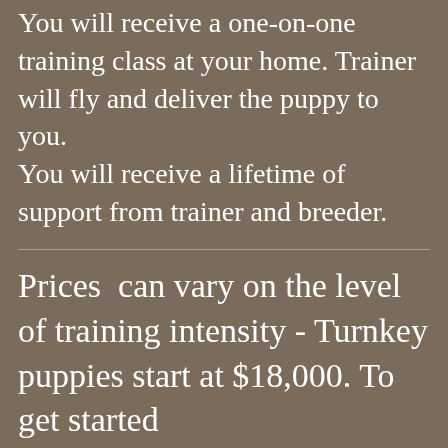You will receive a one-on-one training class at your home. Trainer will fly and deliver the puppy to you. You will receive a lifetime of support from trainer and breeder.
Prices  can vary on the level of training intensity - Turnkey puppies start at $18,000. To get started